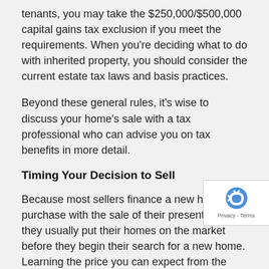tenants, you may take the $250,000/$500,000 capital gains tax exclusion if you meet the requirements. When you're deciding what to do with inherited property, you should consider the current estate tax laws and basis practices.
Beyond these general rules, it's wise to discuss your home's sale with a tax professional who can advise you on tax benefits in more detail.
Timing Your Decision to Sell
Because most sellers finance a new home purchase with the sale of their present home, they usually put their homes on the market before they begin their search for a new home. Learning the price you can expect from the sale often sets the pricing parameters for your new home search.
Obviously, it's not wise to wait until the sale on your property closes completely before beginning to look for your new h... Timing your search properly with the buyers' transaction c... the difference between having the available funds to buy a new